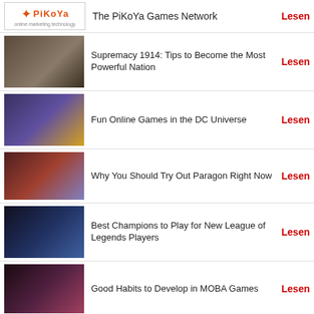The PiKoYa Games Network — Lesen
Supremacy 1914: Tips to Become the Most Powerful Nation — Lesen
Fun Online Games in the DC Universe — Lesen
Why You Should Try Out Paragon Right Now — Lesen
Best Champions to Play for New League of Legends Players — Lesen
Good Habits to Develop in MOBA Games — Lesen
How to Maximize the Use of Supplies in Tanki X — Lesen
Tanki X for Newbies — Lesen